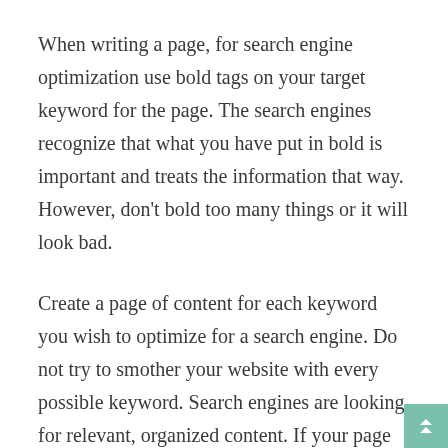When writing a page, for search engine optimization use bold tags on your target keyword for the page. The search engines recognize that what you have put in bold is important and treats the information that way. However, don't bold too many things or it will look bad.
Create a page of content for each keyword you wish to optimize for a search engine. Do not try to smother your website with every possible keyword. Search engines are looking for relevant, organized content. If your page clearly discusses one specific keyword, it is much more